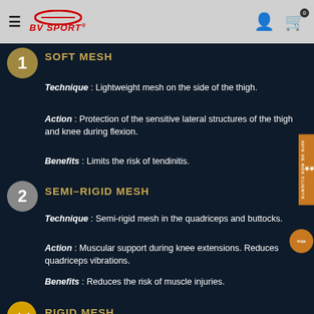BV SPORT
SOFT MESH
Technique : Lightweight mesh on the side of the thigh.
Action : Protection of the sensitive lateral structures of the thigh and knee during flexion.
Benefits : Limits the risk of tendinitis.
SEMI-RIGID MESH
Technique : Semi-rigid mesh in the quadriceps and buttocks.
Action : Muscular support during knee extensions. Reduces quadriceps vibrations.
Benefits : Reduces the risk of muscle injuries.
RIGID MESH
Technique : Rigid mesh in the hamstrings and